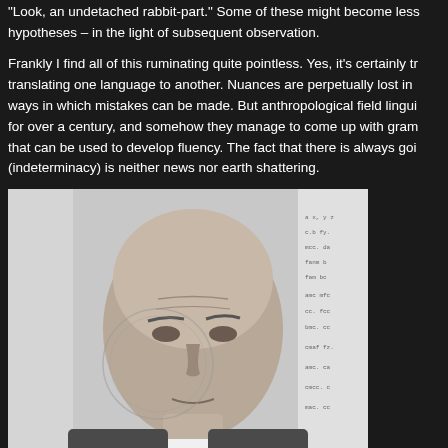"Look, an undetached rabbit-part." Some of these might become less – hypotheses – in the light of subsequent observation.
Frankly I find all of this ruminating quite pointless. Yes, it's certainly true translating one language to another. Nuances are perpetually lost in ways in which mistakes can be made. But anthropological field linguistics for over a century, and somehow they manage to come up with grammars that can be used to develop fluency. The fact that there is always going (indeterminacy) is neither news nor earth shattering.
[Figure (photo): Black and white passport-style photo of an older bald man, with handwritten text/signature visible on left side and stamped text visible on right side of the document.]